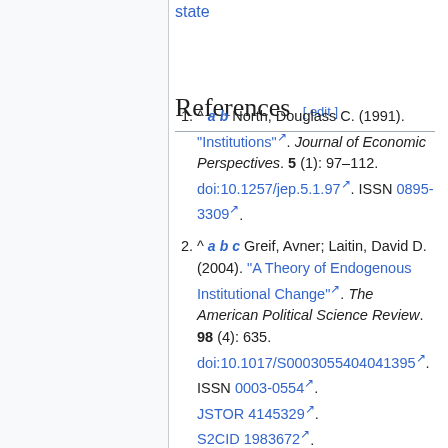state
References [edit]
^ a b North, Douglass C. (1991). "Institutions". Journal of Economic Perspectives. 5 (1): 97–112. doi:10.1257/jep.5.1.97. ISSN 0895-3309.
^ a b c Greif, Avner; Laitin, David D. (2004). "A Theory of Endogenous Institutional Change". The American Political Science Review. 98 (4): 635. doi:10.1017/S0003055404041395. ISSN 0003-0554. JSTOR 4145329. S2CID 1983672.
^ Caporaso, James A.; Jupille, Joseph, eds. (2022), "Introduction: Theories of Institutions", Theories of Institutions, Cambridge University Press, pp. 1–15,